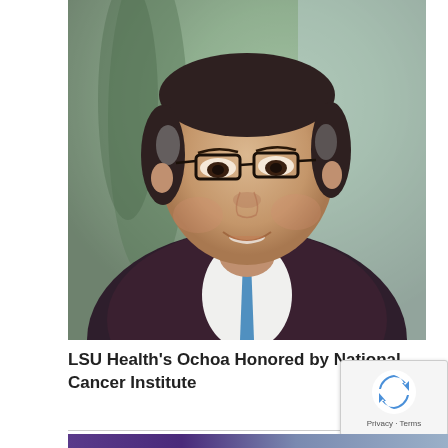[Figure (photo): Professional headshot of a middle-aged man with dark hair and glasses, wearing a dark suit with a blue tie, smiling, with a blurred green background]
LSU Health's Ochoa Honored by National Cancer Institute
[Figure (other): reCAPTCHA badge with rotating arrow icon and Privacy - Terms text]